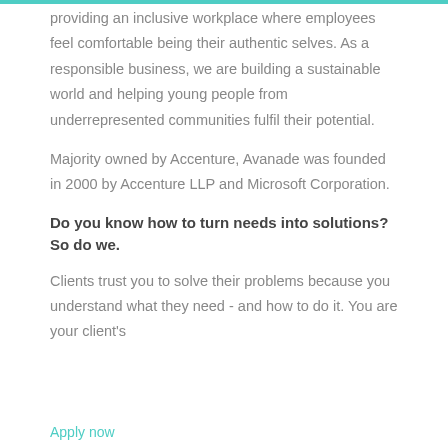providing an inclusive workplace where employees feel comfortable being their authentic selves. As a responsible business, we are building a sustainable world and helping young people from underrepresented communities fulfil their potential.
Majority owned by Accenture, Avanade was founded in 2000 by Accenture LLP and Microsoft Corporation.
Do you know how to turn needs into solutions? So do we.
Clients trust you to solve their problems because you understand what they need - and how to do it. You are your client's
Apply now